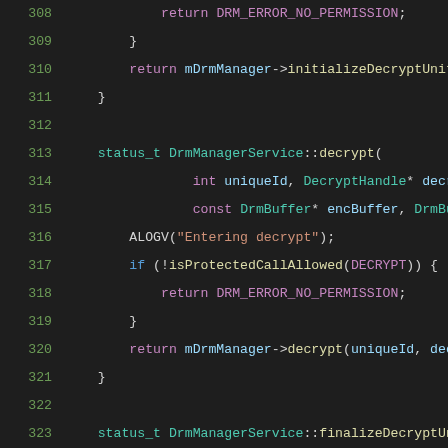[Figure (screenshot): Source code listing lines 308-329 of a C++ DRM manager service implementation, showing functions decrypt and finalizeDecryptUnit with permission checks. Dark theme code editor background.]